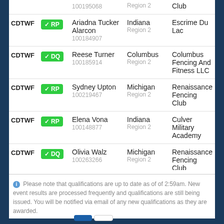| Code | Status | Name / ID | Region | Club |
| --- | --- | --- | --- | --- |
|  |  | 100195068 | Region 2 | Club |
| CDTWF | RP | Ariadna Tucker Alarcon
100184907 | Indiana
Region 2 | Escrime Du Lac |
| CDTWF | DQ | Reese Turner
100185914 | Columbus
Region 2 | Columbus Fencing And Fitness LLC |
| CDTWF | RP | Sydney Upton
100219467 | Michigan
Region 2 | Renaissance Fencing Club |
| CDTWF | RP | Elena Vona
100148877 | Indiana
Region 2 | Culver Military Academy |
| CDTWF | DQ | Olivia Walz
100263266 | Michigan
Region 2 | Renaissance Fencing Club |
| CDTWF | RP | Ella Webb
100200097 | Michigan
Region 2 | Grand Rapids Fencing Academy |
Please note that qualifications are up to date as of of 2:59am. New event results are processed frequently and qualifications are still being issued. You will be notified via email of any new qualifications as they are awarded.